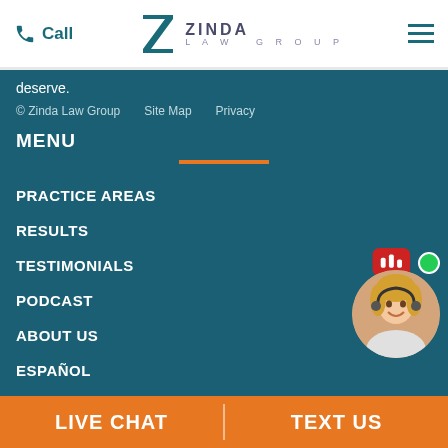Call | ZINDA LAW GROUP | (hamburger menu)
deserve.
© Zinda Law Group   Site Map   Privacy
MENU
PRACTICE AREAS
RESULTS
TESTIMONIALS
PODCAST
ABOUT US
ESPAÑOL
CAREERS
POPULAR PAGES
[Figure (photo): Live chat widget with female agent headset photo and red speech bubble with audio icon, green online indicator dot]
LIVE CHAT   TEXT US